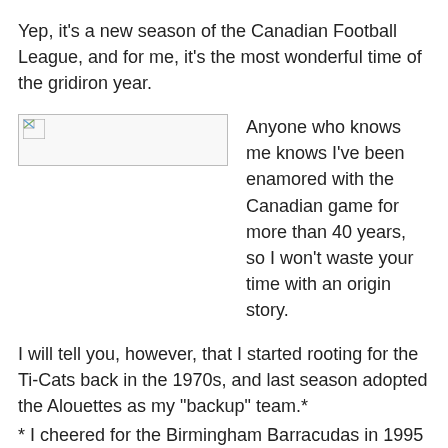Yep, it's a new season of the Canadian Football League, and for me, it's the most wonderful time of the gridiron year.
[Figure (photo): Broken/placeholder image thumbnail on the left side of a two-column layout]
Anyone who knows me knows I've been enamored with the Canadian game for more than 40 years, so I won't waste your time with an origin story.
I will tell you, however, that I started rooting for the Ti-Cats back in the 1970s, and last season adopted the Alouettes as my "backup" team.*
* I cheered for the Birmingham Barracudas in 1995